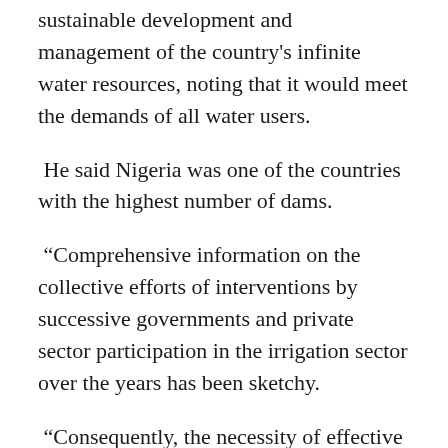sustainable development and management of the country's infinite water resources, noting that it would meet the demands of all water users.
He said Nigeria was one of the countries with the highest number of dams.
“Comprehensive information on the collective efforts of interventions by successive governments and private sector participation in the irrigation sector over the years has been sketchy.
“Consequently, the necessity of effective planning to transform and stimulate the sub-sector, brought about the need for a comprehensive data to properly document and harmonize all